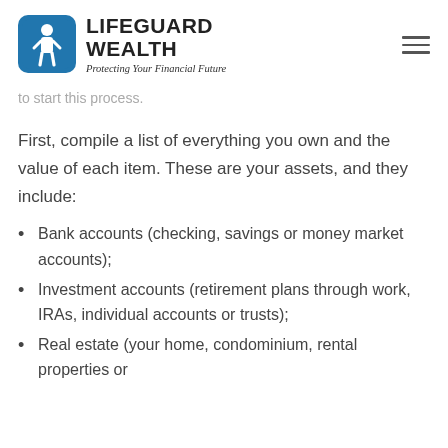LIFEGUARD WEALTH — Protecting Your Financial Future
to start this process.
First, compile a list of everything you own and the value of each item. These are your assets, and they include:
Bank accounts (checking, savings or money market accounts);
Investment accounts (retirement plans through work, IRAs, individual accounts or trusts);
Real estate (your home, condominium, rental properties or